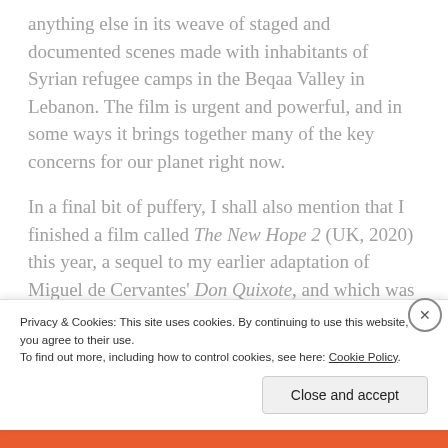anything else in its weave of staged and documented scenes made with inhabitants of Syrian refugee camps in the Beqaa Valley in Lebanon. The film is urgent and powerful, and in some ways it brings together many of the key concerns for our planet right now.

In a final bit of puffery, I shall also mention that I finished a film called The New Hope 2 (UK, 2020) this year, a sequel to my earlier adaptation of Miguel de Cervantes' Don Quixote, and which was shot in London's Hyde Park back in 2014. Set in London and Los Angeles, I think that the sequel is, like the first part
Privacy & Cookies: This site uses cookies. By continuing to use this website, you agree to their use.
To find out more, including how to control cookies, see here: Cookie Policy